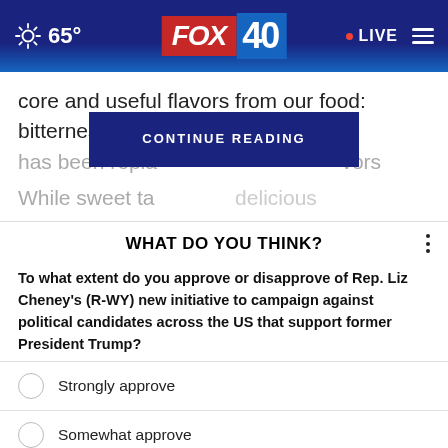FOX 40 | 65° | LIVE
core and useful flavors from our food: bitterness. It has been replaced with sweeter flavors instead. While sweet tastes are delicious
CONTINUE READING
WHAT DO YOU THINK?
To what extent do you approve or disapprove of Rep. Liz Cheney's (R-WY) new initiative to campaign against political candidates across the US that support former President Trump?
Strongly approve
Somewhat approve
Somewhat disapprove
Strongly disapprove